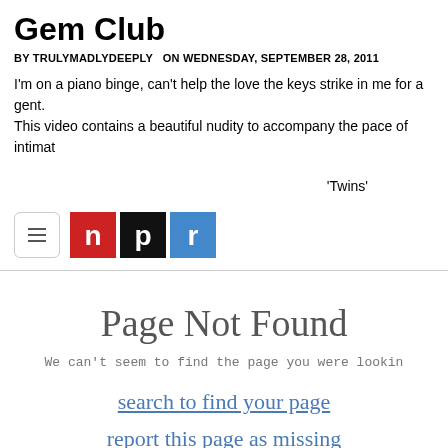Gem Club
BY TRULYMADLYDEEPLY  ON WEDNESDAY, SEPTEMBER 28, 2011
I'm on a piano binge, can't help the love the keys strike in me for a gent. This video contains a beautiful nudity to accompany the pace of intimat
'Twins'
[Figure (screenshot): NPR navigation bar with hamburger menu icon and NPR logo (n in red box, p in black box, r in blue box)]
Page Not Found
We can't seem to find the page you were lookin
search to find your page
report this page as missing
browse the homepage